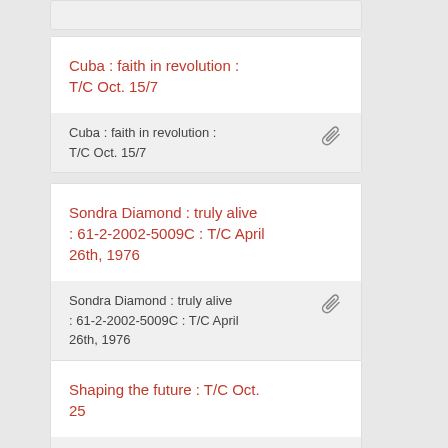Cuba : faith in revolution : T/C Oct. 15/7
Sondra Diamond : truly alive : 61-2-2002-5009C : T/C April 26th, 1976
Shaping the future : T/C Oct. 25